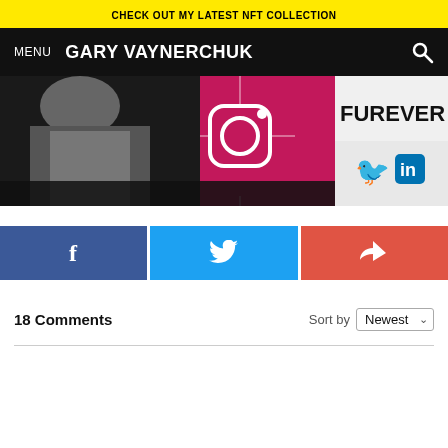CHECK OUT MY LATEST NFT COLLECTION
MENU  GARY VAYNERCHUK
[Figure (screenshot): Hero banner image showing Gary Vaynerchuk with social media logos (Instagram, Twitter, LinkedIn) and the word FOREVER in bold white text on pink/magenta background]
[Figure (infographic): Three social share buttons: Facebook (blue with f icon), Twitter (light blue with bird icon), Share (red with reply arrow icon)]
18 Comments
Sort by Newest